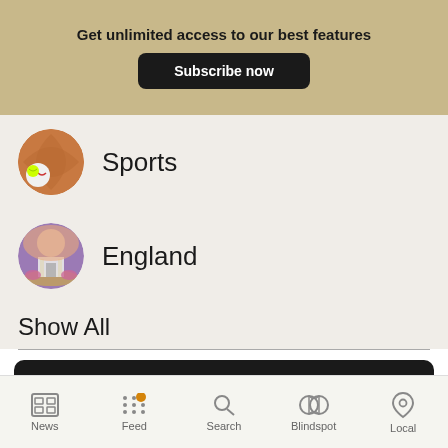Get unlimited access to our best features
Subscribe now
Sports
England
Show All
Think freely.
News | Feed | Search | Blindspot | Local